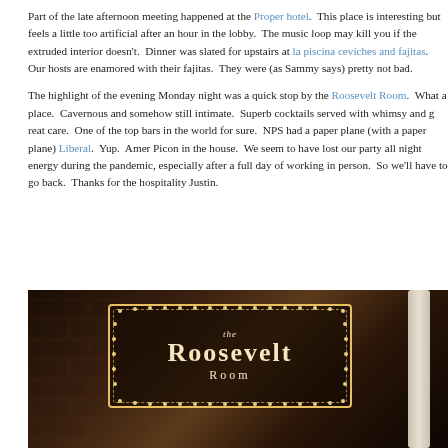Part of the late afternoon meeting happened at the Proper hotel. This place is interesting but feels a little too artificial after an hour in the lobby. The music loop may kill you if the extruded interior doesn't. Dinner was slated for upstairs at la piscina ceviches and fajitas. Our hosts are enamored with their fajitas. They were (as Sammy says) pretty not bad.
The highlight of the evening Monday night was a quick stop by the Roosevelt Room. What a place. Cavernous and somehow still intimate. Superb cocktails served with whimsy and great care. One of the top bars in the world for sure. NPS had a paper plane (with a paper plane) Liberal. Yup. Amer Picon in the house. We seem to have lost our party all night energy during the pandemic, especially after a full day of working in person. So we'll have to go back. Thanks for the hospitality Justin.
[Figure (photo): Night photo of the Roosevelt Room illuminated sign on a brick wall exterior. The sign has warm yellow dot lights bordering a rectangular frame with 'the Roosevelt Room' text in elegant script.]